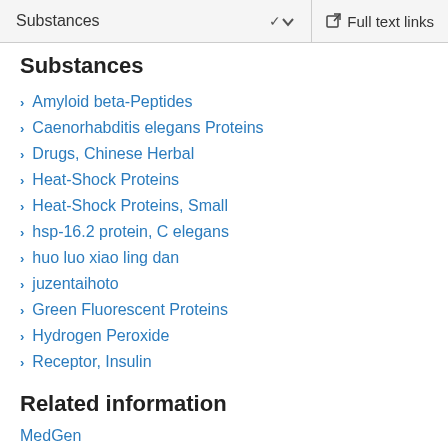Substances  ∨  Full text links
Substances
Amyloid beta-Peptides
Caenorhabditis elegans Proteins
Drugs, Chinese Herbal
Heat-Shock Proteins
Heat-Shock Proteins, Small
hsp-16.2 protein, C elegans
huo luo xiao ling dan
juzentaihoto
Green Fluorescent Proteins
Hydrogen Peroxide
Receptor, Insulin
Related information
MedGen